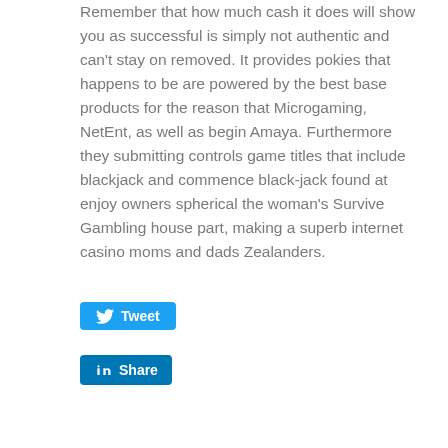Remember that how much cash it does will show you as successful is simply not authentic and can't stay on removed. It provides pokies that happens to be are powered by the best base products for the reason that Microgaming, NetEnt, as well as begin Amaya. Furthermore they submitting controls game titles that include blackjack and commence black-jack found at enjoy owners spherical the woman's Survive Gambling house part, making a superb internet casino moms and dads Zealanders.
[Figure (other): Tweet button (Twitter/X share button with bird icon)]
[Figure (other): LinkedIn Share button with LinkedIn 'in' logo icon]